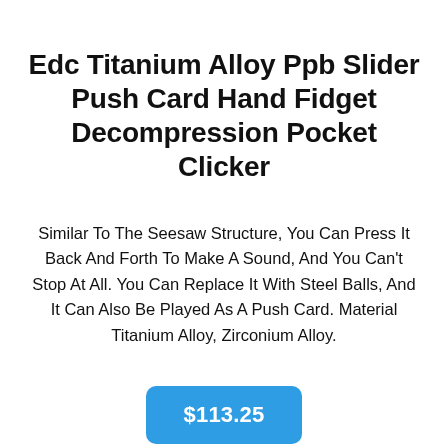Edc Titanium Alloy Ppb Slider Push Card Hand Fidget Decompression Pocket Clicker
Similar To The Seesaw Structure, You Can Press It Back And Forth To Make A Sound, And You Can't Stop At All. You Can Replace It With Steel Balls, And It Can Also Be Played As A Push Card. Material Titanium Alloy, Zirconium Alloy.
$113.25